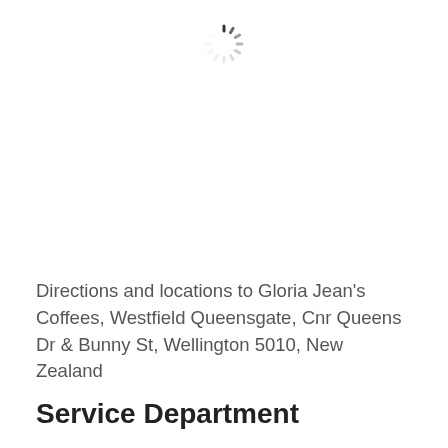[Figure (other): Loading spinner icon (circular dashed ring indicating content is loading)]
Directions and locations to Gloria Jean's Coffees, Westfield Queensgate, Cnr Queens Dr & Bunny St, Wellington 5010, New Zealand
Service Department